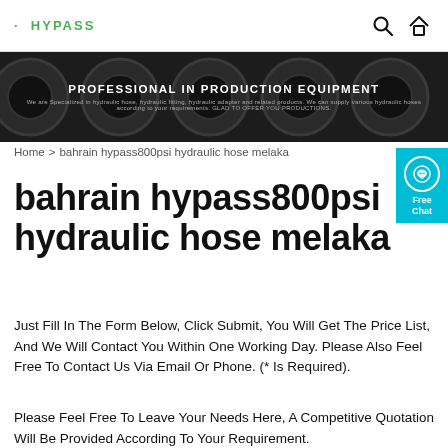· HYPASS [logo] | search icon | home icon
[Figure (photo): Dark industrial banner image showing circular pipe/hose cross-sections with text 'PROFESSIONAL IN PRODUCTION EQUIPMENT' overlaid]
Home > bahrain hypass800psi hydraulic hose melaka
bahrain hypass800psi hydraulic hose melaka
Just Fill In The Form Below, Click Submit, You Will Get The Price List, And We Will Contact You Within One Working Day. Please Also Feel Free To Contact Us Via Email Or Phone. (* Is Required).
Please Feel Free To Leave Your Needs Here, A Competitive Quotation Will Be Provided According To Your Requirement.